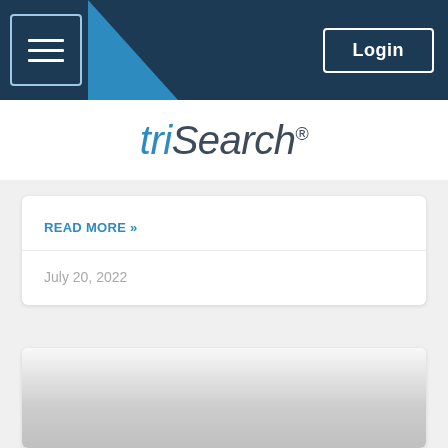triSearch® — Login
[Figure (logo): triSearch logo with blue italic 'tri' and dark italic 'Search' with registered trademark symbol]
READ MORE »
July 20, 2022
[Figure (photo): Partial image visible at bottom of page, fading from white to grey gradient]